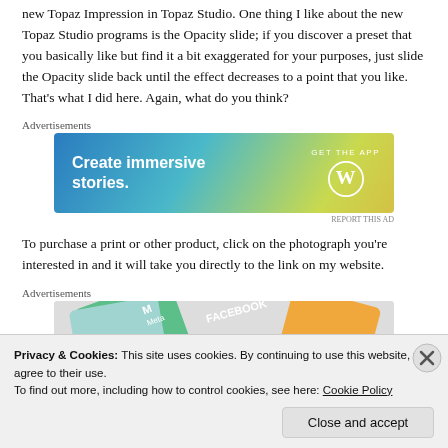new Topaz Impression in Topaz Studio. One thing I like about the new Topaz Studio programs is the Opacity slide; if you discover a preset that you basically like but find it a bit exaggerated for your purposes, just slide the Opacity slide back until the effect decreases to a point that you like. That's what I did here. Again, what do you think?
[Figure (screenshot): Advertisement banner for WordPress app: 'Create immersive stories. GET THE APP' with WordPress logo on a blue-green-yellow gradient background.]
To purchase a print or other product, click on the photograph you're interested in and it will take you directly to the link on my website.
[Figure (screenshot): Advertisement banner showing social media logos including Meta and Facebook on colorful geometric card shapes.]
Privacy & Cookies: This site uses cookies. By continuing to use this website, you agree to their use.
To find out more, including how to control cookies, see here: Cookie Policy
Close and accept